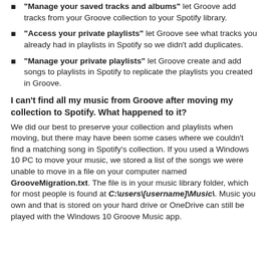"Manage your saved tracks and albums" let Groove add tracks from your Groove collection to your Spotify library.
"Access your private playlists" let Groove see what tracks you already had in playlists in Spotify so we didn't add duplicates.
"Manage your private playlists" let Groove create and add songs to playlists in Spotify to replicate the playlists you created in Groove.
I can't find all my music from Groove after moving my collection to Spotify. What happened to it?
We did our best to preserve your collection and playlists when moving, but there may have been some cases where we couldn't find a matching song in Spotify's collection. If you used a Windows 10 PC to move your music, we stored a list of the songs we were unable to move in a file on your computer named GrooveMigration.txt. The file is in your music library folder, which for most people is found at C:\users\[username]\Music\. Music you own and that is stored on your hard drive or OneDrive can still be played with the Windows 10 Groove Music app.